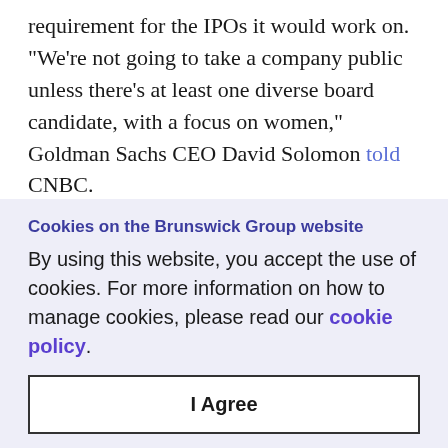requirement for the IPOs it would work on. "We're not going to take a company public unless there's at least one diverse board candidate, with a focus on women," Goldman Sachs CEO David Solomon told CNBC.
COVID-19 risks halting that momentum—or
Cookies on the Brunswick Group website
By using this website, you accept the use of cookies. For more information on how to manage cookies, please read our cookie policy.
I Agree